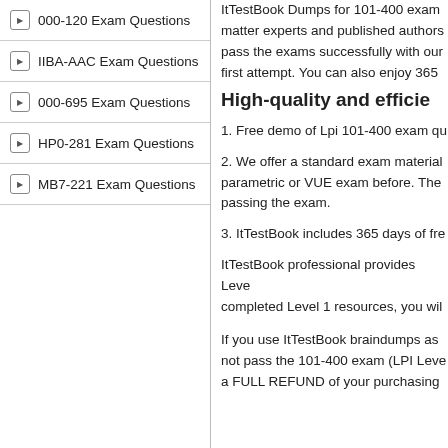000-120 Exam Questions
IIBA-AAC Exam Questions
000-695 Exam Questions
HP0-281 Exam Questions
MB7-221 Exam Questions
ItTestBook Dumps for 101-400 exam matter experts and published authors pass the exams successfully with our first attempt. You can also enjoy 365
High-quality and efficie
1. Free demo of Lpi 101-400 exam qu
2. We offer a standard exam material parametric or VUE exam before. The passing the exam.
3. ItTestBook includes 365 days of fre
ItTestBook professional provides Leve completed Level 1 resources, you wil 100% Money Back Guarantee include
If you use ItTestBook braindumps as not pass the 101-400 exam (LPI Leve a FULL REFUND of your purchasing